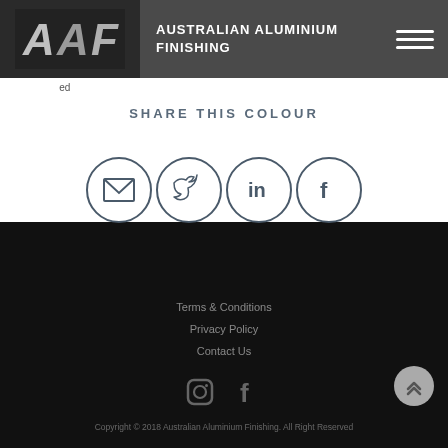AUSTRALIAN ALUMINIUM FINISHING
arrantable on any. Build g...
SHARE THIS COLOUR
[Figure (infographic): Four circular share icons: email/envelope, Twitter bird, LinkedIn 'in', Facebook 'f']
Terms & Conditions
Privacy Policy
Contact Us
Copyright © 2018 Australian Aluminium Finishing. All Right Reserved